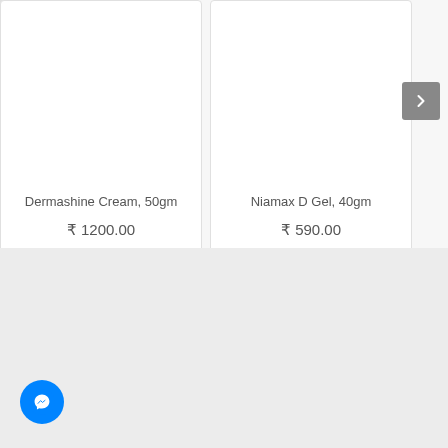Dermashine Cream, 50gm
₹ 1200.00
Niamax D Gel, 40gm
₹ 590.00
[Figure (screenshot): Navigation next arrow button (gray square with white right arrow)]
[Figure (logo): Facebook Messenger chat button (blue circle with white lightning bolt/messenger icon)]